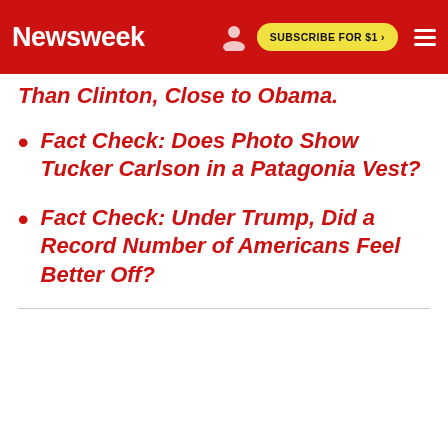Newsweek | SUBSCRIBE FOR $1 >
Than Clinton, Close to Obama.
Fact Check: Does Photo Show Tucker Carlson in a Patagonia Vest?
Fact Check: Under Trump, Did a Record Number of Americans Feel Better Off?